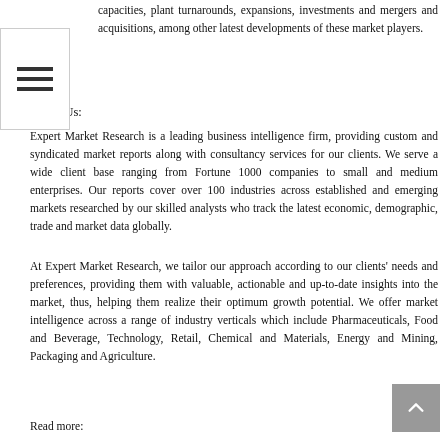capacities, plant turnarounds, expansions, investments and mergers and acquisitions, among other latest developments of these market players.
About Us:
Expert Market Research is a leading business intelligence firm, providing custom and syndicated market reports along with consultancy services for our clients. We serve a wide client base ranging from Fortune 1000 companies to small and medium enterprises. Our reports cover over 100 industries across established and emerging markets researched by our skilled analysts who track the latest economic, demographic, trade and market data globally.
At Expert Market Research, we tailor our approach according to our clients' needs and preferences, providing them with valuable, actionable and up-to-date insights into the market, thus, helping them realize their optimum growth potential. We offer market intelligence across a range of industry verticals which include Pharmaceuticals, Food and Beverage, Technology, Retail, Chemical and Materials, Energy and Mining, Packaging and Agriculture.
Read more: